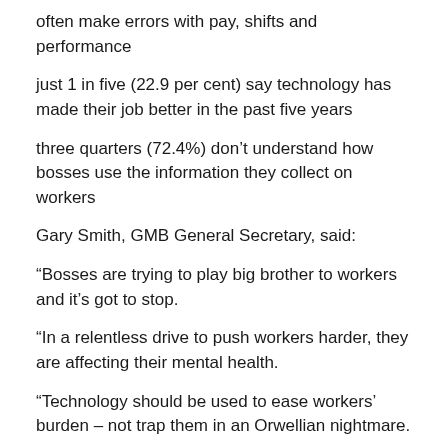often make errors with pay, shifts and performance
just 1 in five (22.9 per cent) say technology has made their job better in the past five years
three quarters (72.4%) don't understand how bosses use the information they collect on workers
Gary Smith, GMB General Secretary, said:
“Bosses are trying to play big brother to workers and it’s got to stop.
“In a relentless drive to push workers harder, they are affecting their mental health.
“Technology should be used to ease workers’ burden – not trap them in an Orwellian nightmare.
“The results are clear – we need legislation to limit workplace monitoring to protect people’s wellbeing.’